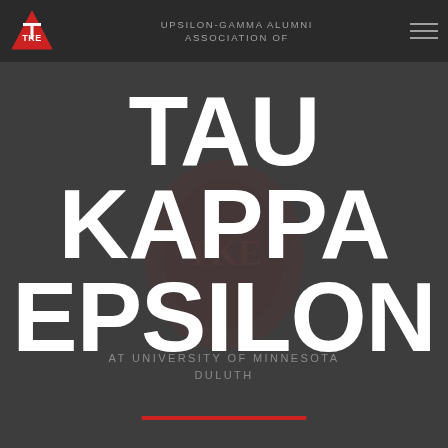UPSILON-GAMMA ALUMNI ASSOCIATION OF
[Figure (logo): TKE triangle logo — red triangle with TKE letters in white]
TAU KAPPA EPSILON
AT UNIVERSITY OF MINNESOTA DULUTH